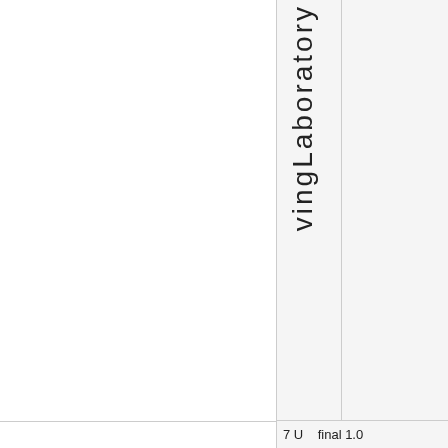|  | vingLaboratory |  |
| --- | --- | --- |
|  |  |  |
|  | 7 U | final 1.0 |